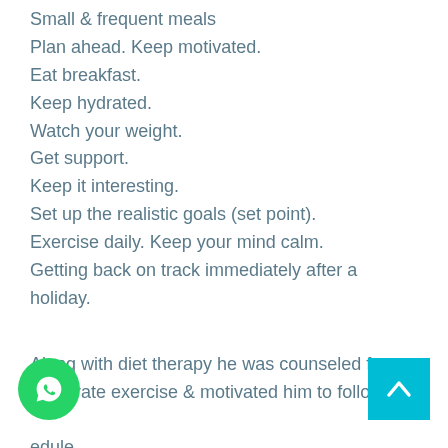Small & frequent meals
Plan ahead. Keep motivated.
Eat breakfast.
Keep hydrated.
Watch your weight.
Get support.
Keep it interesting.
Set up the realistic goals (set point).
Exercise daily. Keep your mind calm.
Getting back on track immediately after a holiday.
Along with diet therapy he was counseled for moderate exercise & motivated him to follow diet schedule.
was very regular patient for follow up as he lost 4 kg of weight in first month that encouraged him to